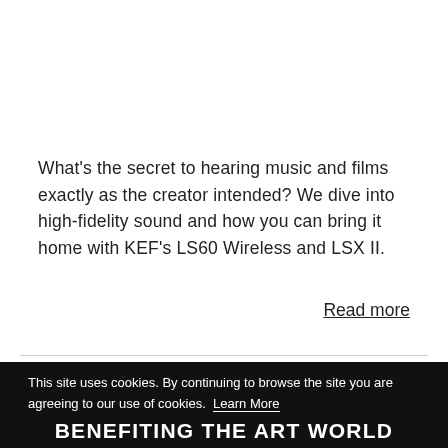What's the secret to hearing music and films exactly as the creator intended? We dive into high-fidelity sound and how you can bring it home with KEF's LS60 Wireless and LSX II.
Read more
This site uses cookies. By continuing to browse the site you are agreeing to our use of cookies.  Learn More
ACCEPT
BENEFITING THE ART WORLD